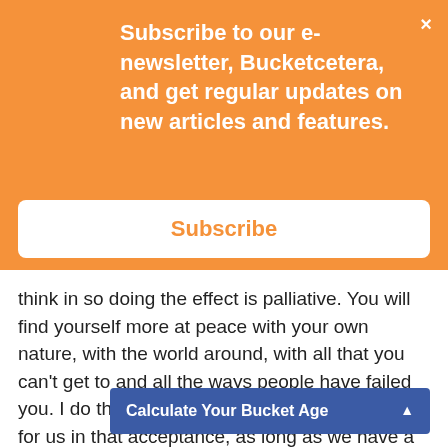Subscribe to our e-newsletter, Bucketcetera, and get regular updates on new articles and features.
Subscribe
think in so doing the effect is palliative. You will find yourself more at peace with your own nature, with the world around, with all that you can't get to and all the ways people have failed you. I do think there is a palliate moment waiting for us in that acceptance, as long as we have a very big i palli
Calculate Your Bucket Age
abo ng to he
Tha